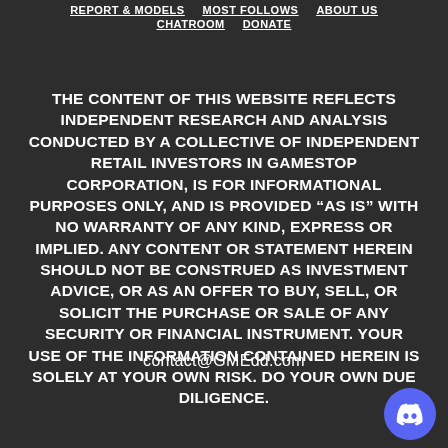REPORT & MODELS   MOST FOLLOWS   ABOUT US   CHATROOM   DONATE
THE CONTENT OF THIS WEBSITE REFLECTS INDEPENDENT RESEARCH AND ANALYSIS CONDUCTED BY A COLLECTIVE OF INDEPENDENT RETAIL INVESTORS IN GAMESTOP CORPORATION, IS FOR INFORMATIONAL PURPOSES ONLY, AND IS PROVIDED “AS IS” WITH NO WARRANTY OF ANY KIND, EXPRESS OR IMPLIED. ANY CONTENT OR STATEMENT HEREIN SHOULD NOT BE CONSTRUED AS INVESTMENT ADVICE, OR AS AN OFFER TO BUY, SELL, OR SOLICIT THE PURCHASE OR SALE OF ANY SECURITY OR FINANCIAL INSTRUMENT. YOUR USE OF THE INFORMATION CONTAINED HEREIN IS SOLELY AT YOUR OWN RISK. DO YOUR OWN DUE DILIGENCE.
contact@GMEdd.com
[Figure (logo): Discord logo button - blue circle with white Discord mascot icon]